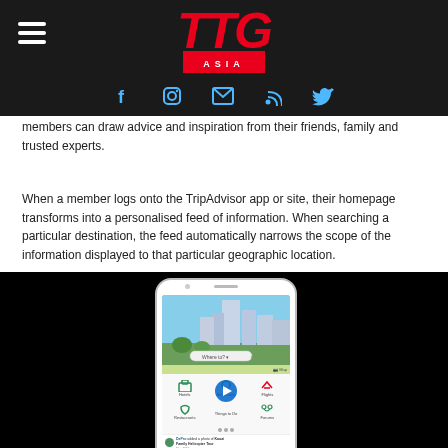TTG Asia — navigation header with social icons
members can draw advice and inspiration from their friends, family and trusted experts.
When a member logs onto the TripAdvisor app or site, their homepage transforms into a personalised feed of information. When searching a particular destination, the feed automatically narrows the scope of the information displayed to that particular geographic location.
[Figure (screenshot): TripAdvisor mobile app screenshot displayed on a smartphone mockup against a dark background. The phone screen shows a cityscape image with a 'Where to?' search bar, a map strip, and a grid of icons for Hotels, Attractions, Flights, Restaurants, Things to Do, and Forums, with a play button overlay in the center. The bottom shows a social feed entry from DePro adding a photo of Kauai Family Helicopter Tour.]